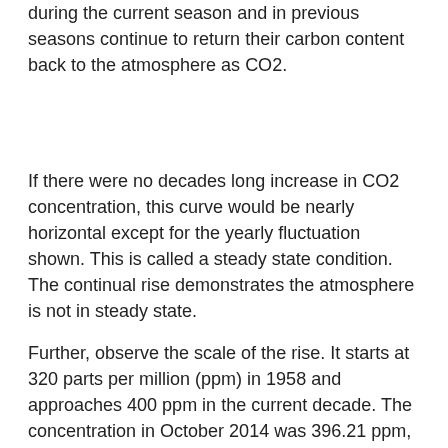during the current season and in previous seasons continue to return their carbon content back to the atmosphere as CO2.
If there were no decades long increase in CO2 concentration, this curve would be nearly horizontal except for the yearly fluctuation shown. This is called a steady state condition. The continual rise demonstrates the atmosphere is not in steady state.
Further, observe the scale of the rise. It starts at 320 parts per million (ppm) in 1958 and approaches 400 ppm in the current decade. The concentration in October 2014 was 396.21 ppm, and in October 2015 it was 398.70 ppm. This was last updated 7 December of this year. This is a more than 50-year trend. Were it to be extrapolated back in a naive manner, then a few centuries ago there would have been no CO2 in the atmosphere. This is obviously not the fact, so at some point in the past the CO2 began its inexorable rise. Here is a plot obtained from ice core data: